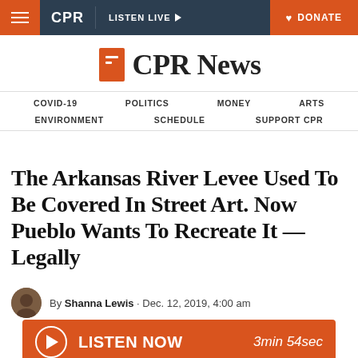CPR | LISTEN LIVE | DONATE
[Figure (logo): CPR News logo with orange bookmark icon and bold serif text]
COVID-19  POLITICS  MONEY  ARTS  ENVIRONMENT  SCHEDULE  SUPPORT CPR
The Arkansas River Levee Used To Be Covered In Street Art. Now Pueblo Wants To Recreate It — Legally
By Shanna Lewis · Dec. 12, 2019, 4:00 am
LISTEN NOW  3min 54sec